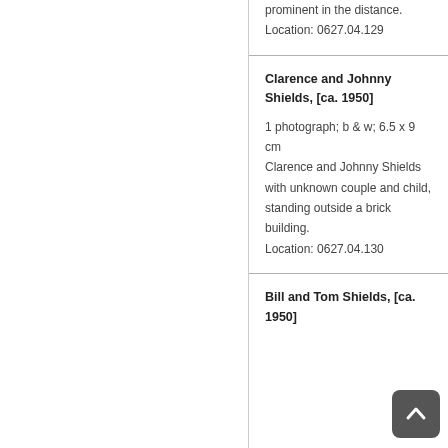prominent in the distance.

Location: 0627.04.129
Clarence and Johnny Shields, [ca. 1950]
1 photograph; b & w; 6.5 x 9 cm

Clarence and Johnny Shields with unknown couple and child, standing outside a brick building.

Location: 0627.04.130
Bill and Tom Shields, [ca. 1950]